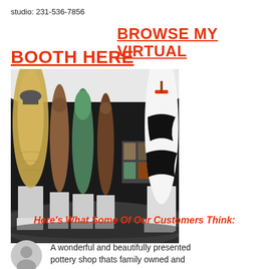studio: 231-536-7856
BROWSE MY VIRTUAL BOOTH HERE
[Figure (photo): Virtual gallery booth showing multiple tall ceramic/pottery sculptures on white pedestals arranged in a curved display space with dark curtain backdrop and white canopy ceiling.]
Here's What Some Of Our Customers Think:
A wonderful and beautifully presented pottery shop thats family owned and